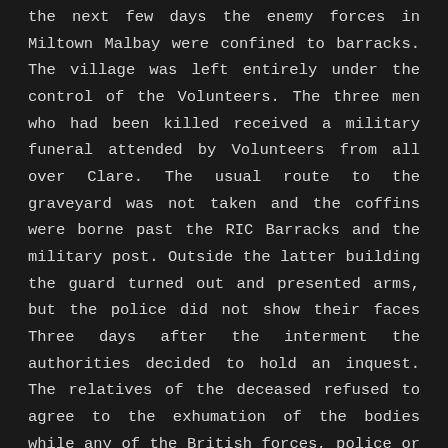the next few days the enemy forces in Miltown Malbay were confined to barracks. The village was left entirely under the control of the Volunteers. The three men who had been killed received a military funeral attended by Volunteers from all over Clare. The usual route to the graveyard was not taken and the coffins were borne past the RIC Barracks and the military post. Outside the latter building the guard turned out and presented arms, but the police did not show their faces Three days after the interment the authorities decided to hold an inquest. The relatives of the deceased refused to agree to the exhumation of the bodies while any of the British forces, police or military, were present and only consented provided the I.R.A. did the job. The post-mortem examination was performed by Doctors Hillary, Miltown